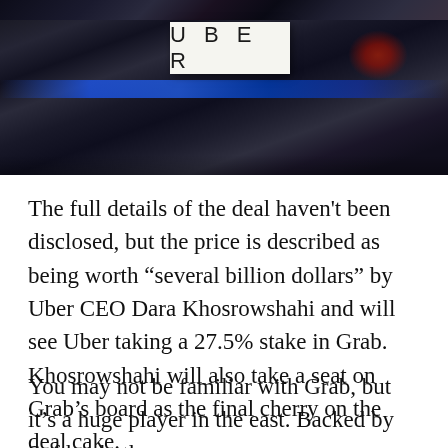[Figure (photo): A close-up photo of a dark luxury car with an UBER sign displayed on the dashboard. The car has a reflective dark body with blue lighting reflections visible. A red light is visible on the right side.]
The full details of the deal haven't been disclosed, but the price is described as being worth “several billion dollars” by Uber CEO Dara Khosrowshahi and will see Uber taking a 27.5% stake in Grab. Khosrowshahi will also take a seat on Grab’s board as the final cherry on the deal cake.
You may not be familiar with Grab, but it’s a huge player in the east. Backed by Softbank, the